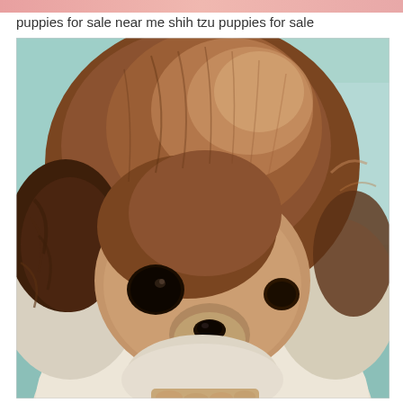puppies for sale near me shih tzu puppies for sale
[Figure (photo): Close-up photograph of a tiny Shih Tzu puppy with fluffy brown and white fur, small dark eyes, a tiny black nose, and a small pink tongue visible. The puppy has voluminous brown fur on top of its head and is being held by a hand visible at the bottom of the frame. The background is a soft teal/blue-green color.]